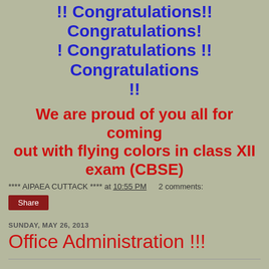!! Congratulations!! Congratulations!! Congratulations !! Congratulations !!
We are proud of you all for coming out with flying colors in class XII exam (CBSE)
**** AIPAEA CUTTACK **** at 10:55 PM   2 comments:
Share
SUNDAY, MAY 26, 2013
Office Administration !!!